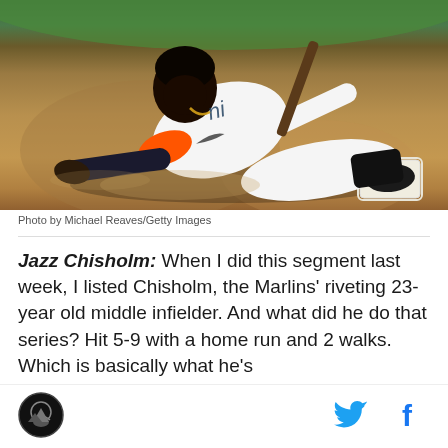[Figure (photo): Baseball player Jazz Chisholm in a Miami Marlins white uniform sliding into base on a dirt infield, arms outstretched, photographed at night under stadium lights.]
Photo by Michael Reaves/Getty Images
Jazz Chisholm: When I did this segment last week, I listed Chisholm, the Marlins' riveting 23-year old middle infielder. And what did he do that series? Hit 5-9 with a home run and 2 walks. Which is basically what he's